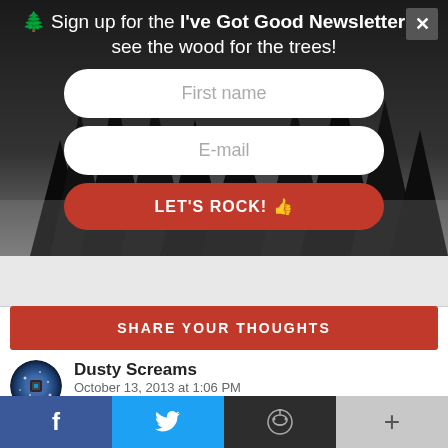🌲 Sign up for the I've Got Good Newsletter to see the wood for the trees!
[Figure (screenshot): First name input field (white rounded rectangle)]
[Figure (screenshot): E-mail input field (white rounded rectangle)]
[Figure (screenshot): LET'S ROCK! 👍 red button]
[Figure (screenshot): SHARE YOUR THOUGHTS red button]
Dusty Screams
October 13, 2013 at 1:06 PM
Thanks for this interview!!!!I remember when Parole De Navarre came out, I was completely mad about finding out anything about this guys! The best band of the genre in my opinion, the
f  🐦  reddit  +